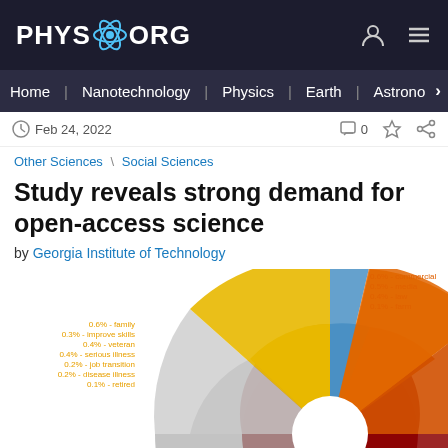PHYS.ORG
Home | Nanotechnology | Physics | Earth | Astronomy >
Feb 24, 2022  0
Other Sciences \ Social Sciences
Study reveals strong demand for open-access science
by Georgia Institute of Technology
[Figure (pie-chart): Sunburst/donut chart showing categories of open-access science demand including family, improve skills, veteran, serious illness, job transition, disease illness, retired on left; commercial, media, law, farm on upper right; literature review, research governance, book, historical research on lower right; Misinterpreted the question, time, device; Sentiment: gratitude, rant; 1.3% contain 'thank'; education & research inner slice; and other categories.]